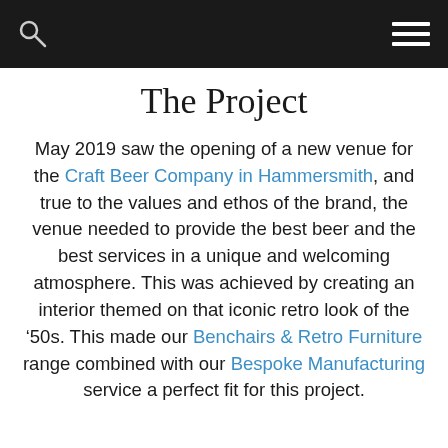[navigation bar with search icon and hamburger menu]
The Project
May 2019 saw the opening of a new venue for the Craft Beer Company in Hammersmith, and true to the values and ethos of the brand, the venue needed to provide the best beer and the best services in a unique and welcoming atmosphere. This was achieved by creating an interior themed on that iconic retro look of the ’50s. This made our Benchairs & Retro Furniture range combined with our Bespoke Manufacturing service a perfect fit for this project.